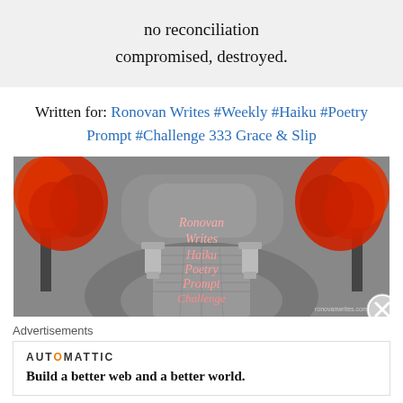no reconciliation
compromised, destroyed.
Written for: Ronovan Writes #Weekly #Haiku #Poetry Prompt #Challenge 333 Grace & Slip
[Figure (illustration): Black and white Japanese garden path with red maple trees on either side, stone lanterns, and overlaid text reading 'Ronovan Writes Haiku Poetry Prompt Challenge' in pink/red script. Small watermark at bottom right.]
Advertisements
AUTOMATTIC
Build a better web and a better world.